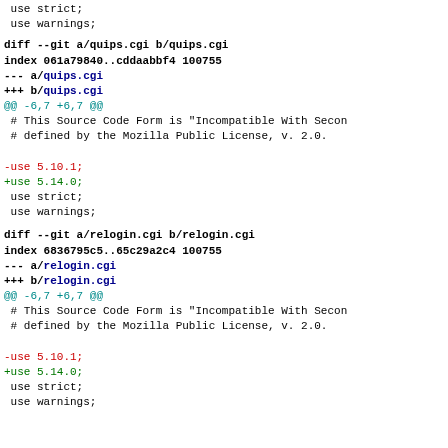use strict;
 use warnings;
diff --git a/quips.cgi b/quips.cgi
index 061a79840..cddaabbf4 100755
--- a/quips.cgi
+++ b/quips.cgi
@@ -6,7 +6,7 @@
 # This Source Code Form is "Incompatible With Secon
 # defined by the Mozilla Public License, v. 2.0.

-use 5.10.1;
+use 5.14.0;
 use strict;
 use warnings;
diff --git a/relogin.cgi b/relogin.cgi
index 6836795c5..65c29a2c4 100755
--- a/relogin.cgi
+++ b/relogin.cgi
@@ -6,7 +6,7 @@
 # This Source Code Form is "Incompatible With Secon
 # defined by the Mozilla Public License, v. 2.0.

-use 5.10.1;
+use 5.14.0;
 use strict;
 use warnings;